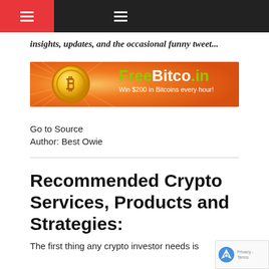Navigation header with hamburger menus
insights, updates, and the occasional funny tweet...
[Figure (illustration): FreeBitco.in advertisement banner with bitcoin coin graphic on orange gradient background. Text reads: FreeBitco.in - Win $200 in Bitcoins every hour!]
Go to Source
Author: Best Owie
Recommended Crypto Services, Products and Strategies:
The first thing any crypto investor needs is